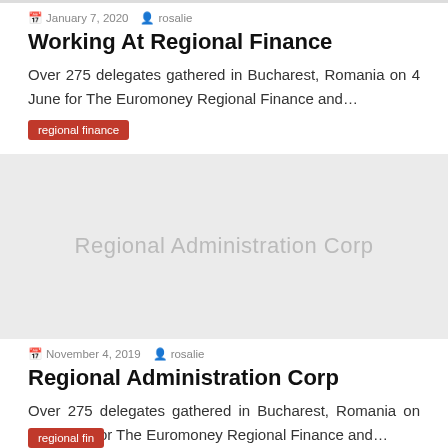January 7, 2020   rosalie
Working At Regional Finance
Over 275 delegates gathered in Bucharest, Romania on 4 June for The Euromoney Regional Finance and…
regional finance
[Figure (other): Placeholder thumbnail image with text 'Regional Administration Corp' on a light grey background]
November 4, 2019   rosalie
Regional Administration Corp
Over 275 delegates gathered in Bucharest, Romania on four June for The Euromoney Regional Finance and…